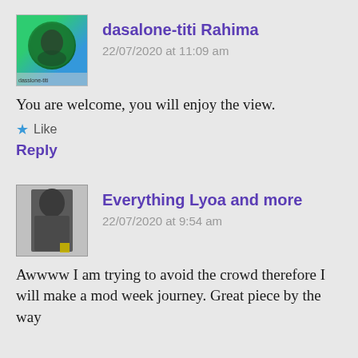[Figure (photo): Profile avatar of dasalone-titi with green and blue circular background]
dasalone-titi Rahima
22/07/2020 at 11:09 am
You are welcome, you will enjoy the view.
★ Like
Reply
[Figure (photo): Black and white profile photo of a woman with long hair]
Everything Lyoa and more
22/07/2020 at 9:54 am
Awwww I am trying to avoid the crowd therefore I will make a mod week journey. Great piece by the way